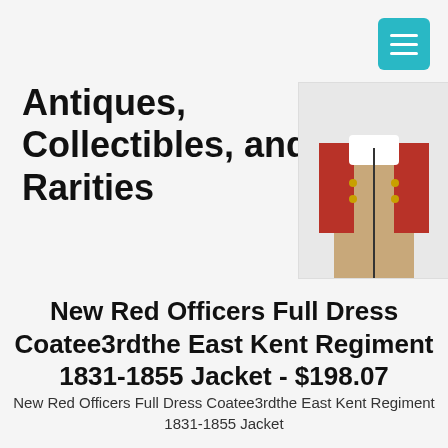Antiques, Collectibles, and Rarities
[Figure (photo): Military jacket - New Red Officers Full Dress Coatee, showing tan/khaki body with red sleeves and gold buttons, displayed on a stand]
New Red Officers Full Dress Coatee3rdthe East Kent Regiment 1831-1855 Jacket - $198.07
New Red Officers Full Dress Coatee3rdthe East Kent Regiment 1831-1855 Jacket